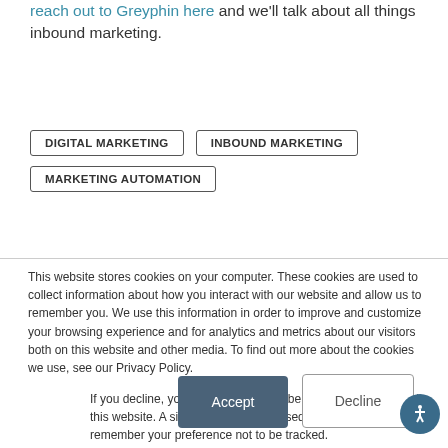reach out to Greyphin here and we'll talk about all things inbound marketing.
DIGITAL MARKETING
INBOUND MARKETING
MARKETING AUTOMATION
This website stores cookies on your computer. These cookies are used to collect information about how you interact with our website and allow us to remember you. We use this information in order to improve and customize your browsing experience and for analytics and metrics about our visitors both on this website and other media. To find out more about the cookies we use, see our Privacy Policy.
If you decline, your information won't be tracked when you visit this website. A single cookie will be used in your browser to remember your preference not to be tracked.